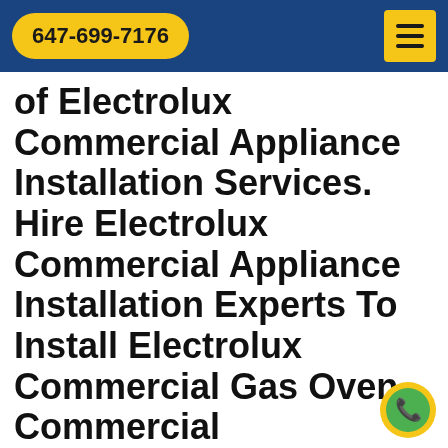647-699-7176
of Electrolux Commercial Appliance Installation Services. Hire Electrolux Commercial Appliance Installation Experts To Install Electrolux Commercial Gas Oven, Commercial Refrigerator Installation & Commercial Washing Machine Installation.
Whether you want to install a Electrolux was